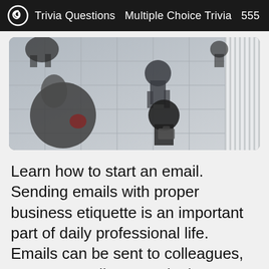Trivia Questions  Multiple Choice Trivia  555
[Figure (photo): Aerial/top-down view of people walking on a tiled floor, motion blur on some figures, with striped architectural elements on the right side.]
Learn how to start an email. Sending emails with proper business etiquette is an important part of daily professional life. Emails can be sent to colleagues, customers, clients, and other outside parties to gather information or relay